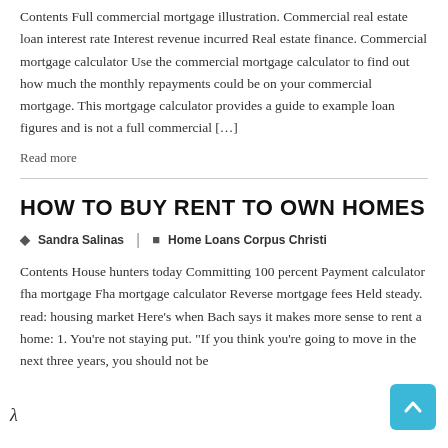Contents Full commercial mortgage illustration. Commercial real estate loan interest rate Interest revenue incurred Real estate finance. Commercial mortgage calculator Use the commercial mortgage calculator to find out how much the monthly repayments could be on your commercial mortgage. This mortgage calculator provides a guide to example loan figures and is not a full commercial […]
Read more
HOW TO BUY RENT TO OWN HOMES
Sandra Salinas  |  Home Loans Corpus Christi
Contents House hunters today Committing 100 percent Payment calculator fha mortgage Fha mortgage calculator Reverse mortgage fees Held steady. read: housing market Here's when Bach says it makes more sense to rent a home: 1. You're not staying put. "If you think you're going to move in the next three years, you should not be